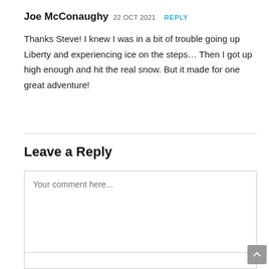Joe McConaughy 22 OCT 2021 REPLY
Thanks Steve! I knew I was in a bit of trouble going up Liberty and experiencing ice on the steps… Then I got up high enough and hit the real snow. But it made for one great adventure!
Leave a Reply
Your comment here...